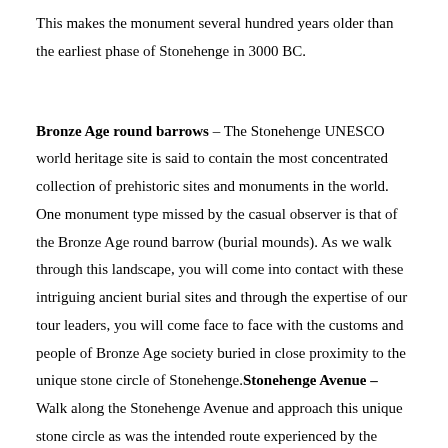This makes the monument several hundred years older than the earliest phase of Stonehenge in 3000 BC.
Bronze Age round barrows – The Stonehenge UNESCO world heritage site is said to contain the most concentrated collection of prehistoric sites and monuments in the world. One monument type missed by the casual observer is that of the Bronze Age round barrow (burial mounds). As we walk through this landscape, you will come into contact with these intriguing ancient burial sites and through the expertise of our tour leaders, you will come face to face with the customs and people of Bronze Age society buried in close proximity to the unique stone circle of Stonehenge.Stonehenge Avenue – Walk along the Stonehenge Avenue and approach this unique stone circle as was the intended route experienced by the Stonehenge's contempories.